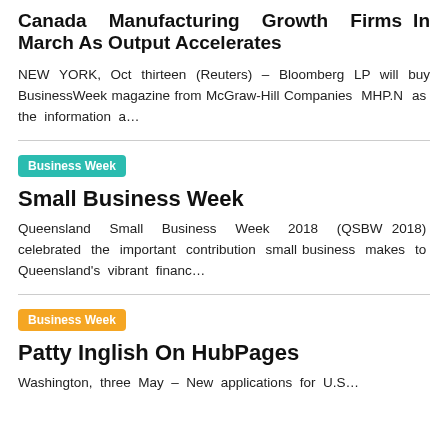Canada Manufacturing Growth Firms In March As Output Accelerates
NEW YORK, Oct thirteen (Reuters) – Bloomberg LP will buy BusinessWeek magazine from McGraw-Hill Companies MHP.N as the information a…
Business Week
Small Business Week
Queensland Small Business Week 2018 (QSBW 2018) celebrated the important contribution small business makes to Queensland's vibrant financ…
Business Week
Patty Inglish On HubPages
Washington, three May – New applications for U.S…